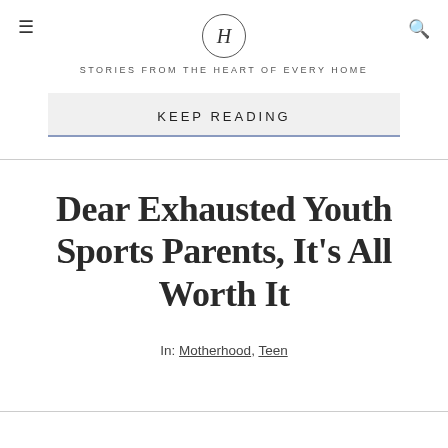H — STORIES FROM THE HEART OF EVERY HOME
KEEP READING
Dear Exhausted Youth Sports Parents, It's All Worth It
In: Motherhood, Teen